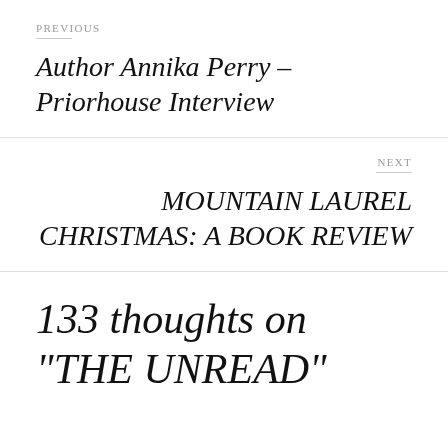PREVIOUS
Author Annika Perry – Priorhouse Interview
NEXT
MOUNTAIN LAUREL CHRISTMAS: A BOOK REVIEW
133 thoughts on “THE UNREAD”